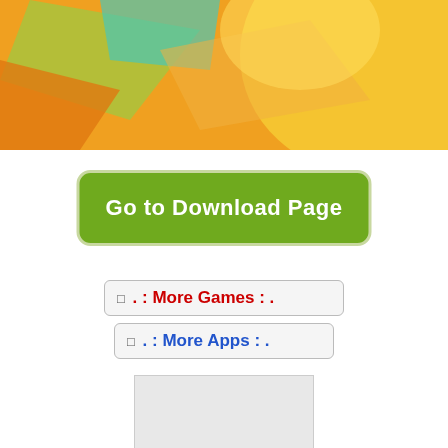[Figure (illustration): Colorful abstract/geometric illustration with orange, yellow, green, and teal colors, partially visible at the top of the page]
Go to Download Page
🔲 . : More Games : .
🔲 . : More Apps : .
[Figure (screenshot): Partial screenshot or image visible at the bottom of the page, mostly white/light gray]